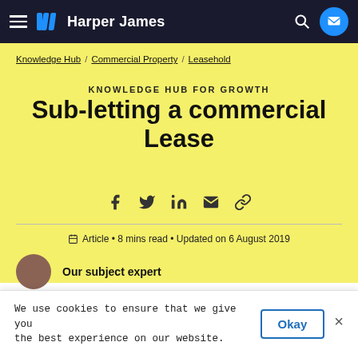Harper James
Knowledge Hub / Commercial Property / Leasehold
KNOWLEDGE HUB FOR GROWTH
Sub-letting a commercial Lease
[Figure (infographic): Social share icons: Facebook, Twitter, LinkedIn, Email, Link]
Article • 8 mins read • Updated on 6 August 2019
Our subject expert
We use cookies to ensure that we give you the best experience on our website.